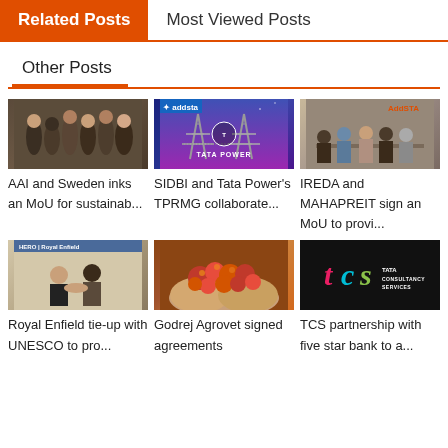Related Posts
Most Viewed Posts
Other Posts
[Figure (photo): Group of people standing together indoors]
AAI and Sweden inks an MoU for sustainab...
[Figure (photo): Tata Power logo with electricity towers in the background]
SIDBI and Tata Power's TPRMG collaborate...
[Figure (photo): Group of people at a signing ceremony]
IREDA and MAHAPREIT sign an MoU to provi...
[Figure (photo): Two people shaking hands at Royal Enfield event]
Royal Enfield tie-up with UNESCO to pro...
[Figure (photo): Hands holding red palm fruits]
Godrej Agrovet signed agreements
[Figure (logo): TCS - Tata Consultancy Services logo on dark background]
TCS partnership with five star bank to a...